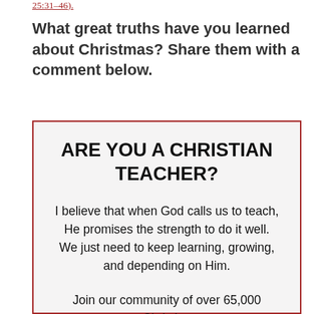25:31-46).
What great truths have you learned about Christmas? Share them with a comment below.
ARE YOU A CHRISTIAN TEACHER?
I believe that when God calls us to teach, He promises the strength to do it well. We just need to keep learning, growing, and depending on Him.
Join our community of over 65,000 Christian